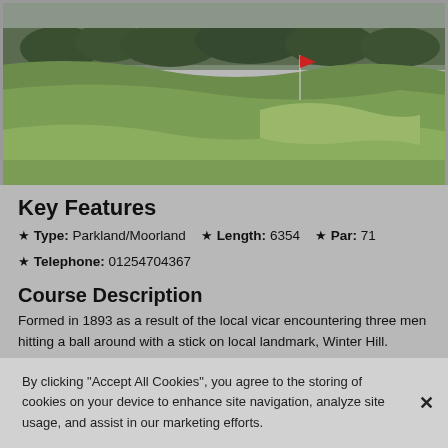[Figure (photo): Aerial/landscape view of a green golf course with rolling hills, trees in the background, and a flag visible on the fairway under overcast sky.]
Key Features
★ Type: Parkland/Moorland  ★ Length: 6354  ★ Par: 71
★ Telephone: 01254704367
Course Description
Formed in 1893 as a result of the local vicar encountering three men hitting a ball around with a stick on local landmark, Winter Hill.
By clicking "Accept All Cookies", you agree to the storing of cookies on your device to enhance site navigation, analyze site usage, and assist in our marketing efforts.